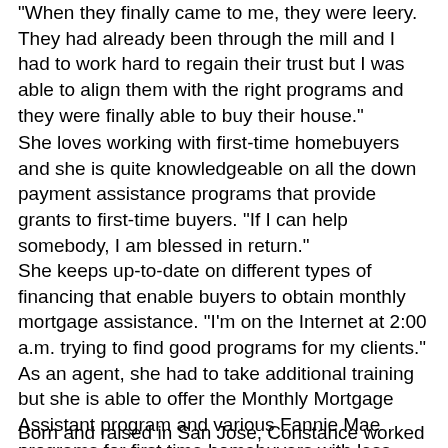"When they finally came to me, they were leery. They had already been through the mill and I had to work hard to regain their trust but I was able to align them with the right programs and they were finally able to buy their house."
She loves working with first-time homebuyers and she is quite knowledgeable on all the down payment assistance programs that provide grants to first-time buyers.  "If I can help somebody, I am blessed in return."
She keeps up-to-date on different types of financing that enable buyers to obtain monthly mortgage assistance. "I'm on the Internet at 2:00 a.m. trying to find good programs for my clients."  As an agent, she had to take additional training but she is able to offer the Monthly Mortgage Assistant program and various Fannie Mae programs for first time homebuyers with less-than-perfect credit.  She's also very knowledgeable on CALHFA, and ACORN Housing programs.  In this ever-changing market, she makes it a point to stay on top of available new products, such as the FIRST HOUSE program that was recently rolled out.  "The sellers love it because they know we will sell their homes," she explains.
Born and raised in San Jose, Constance worked as an IT